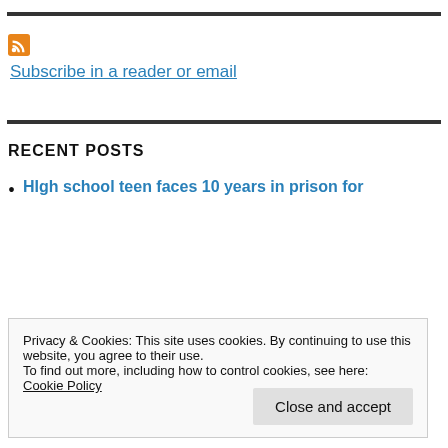[Figure (other): Partial image at top (cropped)]
Subscribe in a reader or email
RECENT POSTS
HIgh school teen faces 10 years in prison for
Privacy & Cookies: This site uses cookies. By continuing to use this website, you agree to their use.
To find out more, including how to control cookies, see here:
Cookie Policy
Close and accept